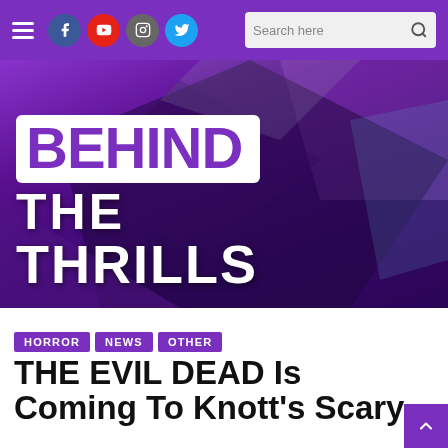[Figure (screenshot): Website navigation bar with hamburger menu, social media icons (Facebook, YouTube, Instagram, Twitter), and search box on purple background]
[Figure (logo): Behind The Thrills website logo on a collage banner with theme park images and purple overlay. Large white text reads BEHIND THE THRILLS.]
HORROR
NEWS
OTHER
THE EVIL DEAD Is Coming To Knott's Scary Farm's Haunt